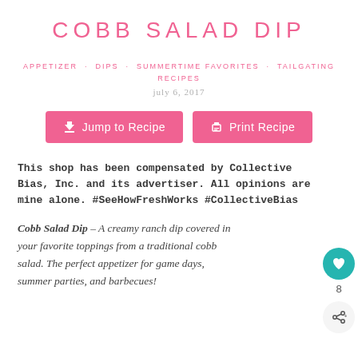COBB SALAD DIP
APPETIZER · DIPS · SUMMERTIME FAVORITES · TAILGATING RECIPES
july 6, 2017
Jump to Recipe   Print Recipe
This shop has been compensated by Collective Bias, Inc. and its advertiser. All opinions are mine alone. #SeeHowFreshWorks #CollectiveBias
Cobb Salad Dip – A creamy ranch dip covered in your favorite toppings from a traditional cobb salad. The perfect appetizer for game days, summer parties, and barbecues!